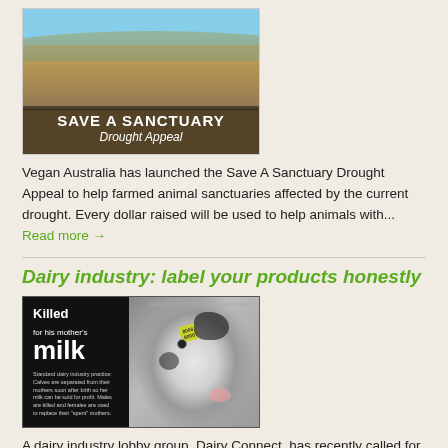[Figure (photo): Photo of sheep in a dry drought-affected landscape with hills in background. Overlay text reads 'SAVE A SANCTUARY Drought Appeal']
Vegan Australia has launched the Save A Sanctuary Drought Appeal to help farmed animal sanctuaries affected by the current drought. Every dollar raised will be used to help animals with... Read more →
Dairy industry: label your products honestly
[Figure (photo): Dark promotional image showing a black and white dairy calf with text 'Killed for his mother's milk'. Includes text about standard dairy industry practices and a yellow ear tag on the calf.]
A dairy industry lobby group, Dairy Connect, has recently called for a ban on the use of the word "milk" for soy milk, rice milk, almond milk, etc. They want